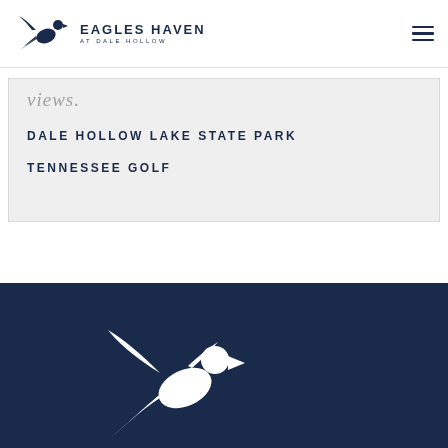Eagles Haven at Dale Hollow
views.
DALE HOLLOW LAKE STATE PARK
TENNESSEE GOLF
[Figure (logo): Eagles Haven at Dale Hollow footer logo - white eagle silhouette on dark navy background]